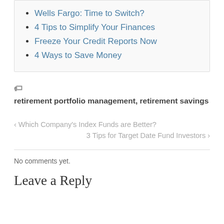Wells Fargo: Time to Switch?
4 Tips to Simplify Your Finances
Freeze Your Credit Reports Now
4 Ways to Save Money
retirement portfolio management, retirement savings
‹ Which Company's Index Funds are Better?
3 Tips for Target Date Fund Investors ›
No comments yet.
Leave a Reply